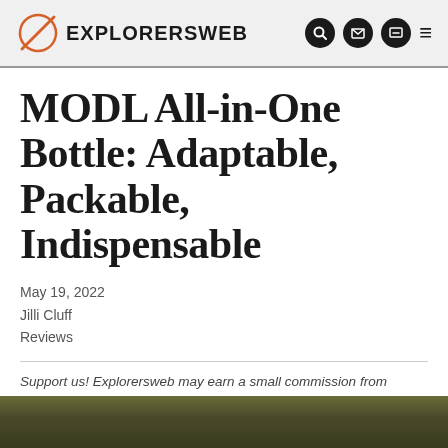EXPLORERSWEB
MODL All-in-One Bottle: Adaptable, Packable, Indispensable
May 19, 2022
Jilli Cluff
Reviews
Support us! Explorersweb may earn a small commission from affiliate links in this article. Learn more.
[Figure (photo): Bottom portion of an outdoor/nature photo, showing green and brown blurred foliage]